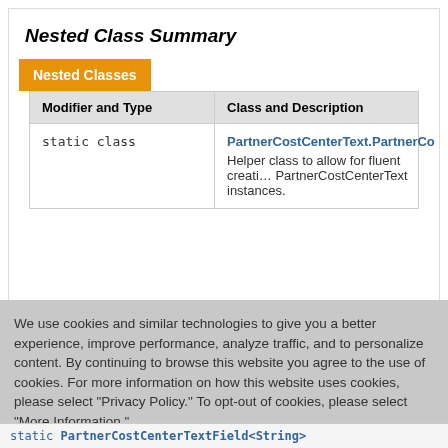Nested Class Summary
| Modifier and Type | Class and Description |
| --- | --- |
| static class | PartnerCostCenterText.PartnerCo… / Helper class to allow for fluent creati… PartnerCostCenterText instances. |
We use cookies and similar technologies to give you a better experience, improve performance, analyze traffic, and to personalize content. By continuing to browse this website you agree to the use of cookies. For more information on how this website uses cookies, please select "Privacy Policy." To opt-out of cookies, please select "More Information."
Accept Cookies
More Information
Privacy Policy | Powered by: TrustArc
static PartnerCostCenterTextField<String>